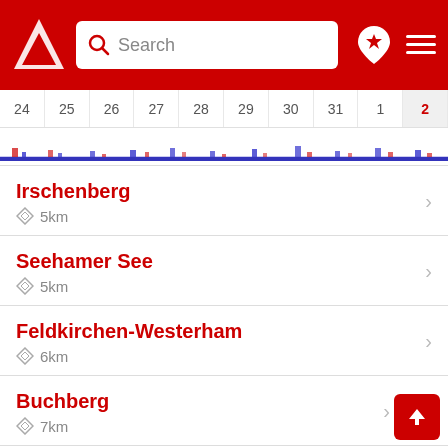[Figure (screenshot): Mobile app header with red background, white triangular logo on left, white search box with magnifier icon and 'Search' placeholder, map pin icon with star and hamburger menu on right]
[Figure (bar-chart): Calendar date strip showing dates 24-31 and 1,2, with small blue/red bar chart below dates indicating activity levels. Date 2 is highlighted in red on gray background.]
Irschenberg
◇ 5km
Seehamer See
◇ 5km
Feldkirchen-Westerham
◇ 6km
Buchberg
◇ 7km